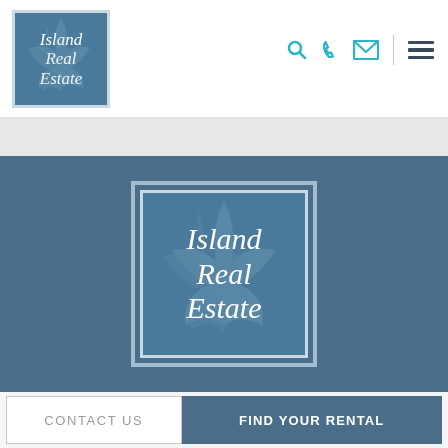[Figure (logo): Island Real Estate logo – small version in header, square with blue background and cursive white text]
[Figure (screenshot): Navigation icons: search (magnifying glass), phone, envelope, vertical divider, hamburger menu – teal and dark blue]
[Figure (logo): Island Real Estate logo – large centered version on blue background section, square with blue background, cursive white text reading Island Real Estate]
CONTACT US
FIND YOUR RENTAL